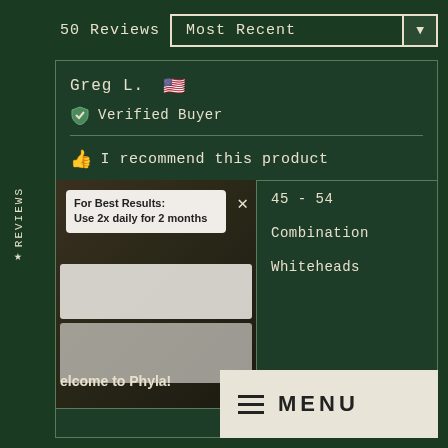50 Reviews
Most Recent
Greg L. 🇺🇸
Verified Buyer
I recommend this product
[Figure (photo): Product photo showing instructions 'For Best Results: Use 2x daily for 2 months' and welcome to Phyla text with watch reviews bar]
45 - 54
Combination
Whiteheads
23 days ago
≡ MENU
REVIEWS